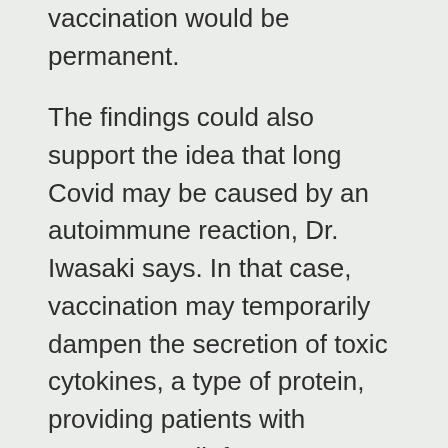vaccination would be permanent. The findings could also support the idea that long Covid may be caused by an autoimmune reaction, Dr. Iwasaki says. In that case, vaccination may temporarily dampen the secretion of toxic cytokines, a type of protein, providing patients with temporary relief.